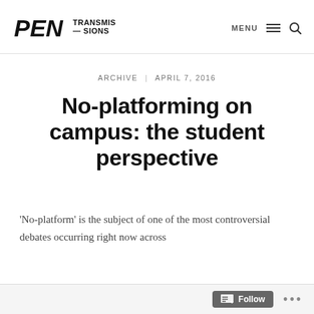PEN TRANSMISSIONS — MENU
ARCHIVE   APRIL 7, 2016
No-platforming on campus: the student perspective
'No-platform' is the subject of one of the most controversial debates occurring right now across
Follow